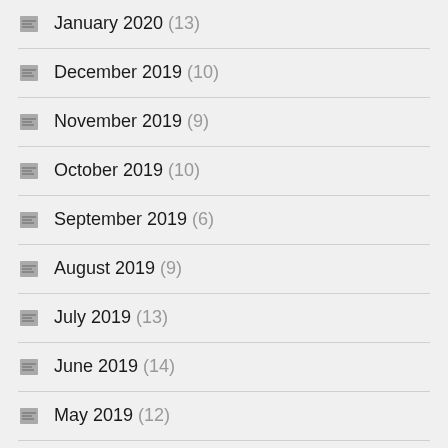January 2020 (13)
December 2019 (10)
November 2019 (9)
October 2019 (10)
September 2019 (6)
August 2019 (9)
July 2019 (13)
June 2019 (14)
May 2019 (12)
April 2019 (8)